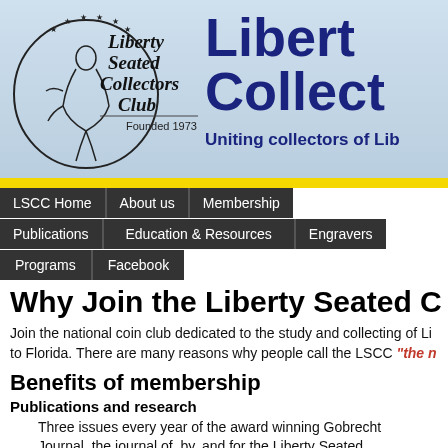[Figure (logo): Liberty Seated Collectors Club logo with seated Liberty figure in circle and club name text, Founded 1973]
Liberty Collectors Club — Uniting collectors of Liberty
LSCC Home | About us | Membership | Publications | Education & Resources | Engravers | Programs | Facebook
Why Join the Liberty Seated C
Join the national coin club dedicated to the study and collecting of Li... to Florida. There are many reasons why people call the LSCC "the b..."
Benefits of membership
Publications and research
Three issues every year of the award winning Gobrecht Journal, the journal of, by, and for the Liberty Seated Collectors Club